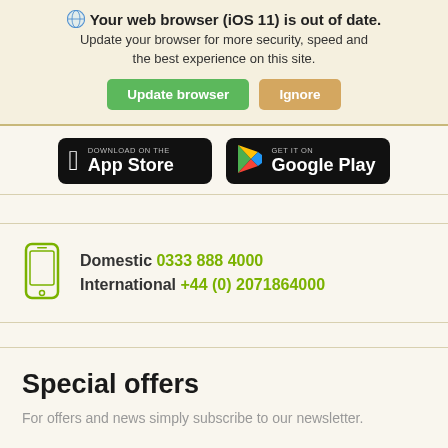🌐 Your web browser (iOS 11) is out of date. Update your browser for more security, speed and the best experience on this site. [Update browser] [Ignore]
[Figure (screenshot): App Store and Google Play download badges on dark background]
Domestic 0333 888 4000 International +44 (0) 2071864000
Special offers
For offers and news simply subscribe to our newsletter.